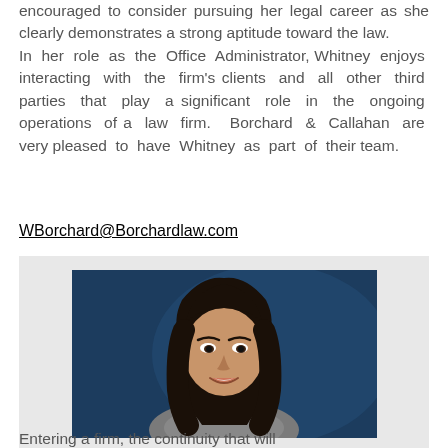encouraged to consider pursuing her legal career as she clearly demonstrates a strong aptitude toward the law. In her role as the Office Administrator, Whitney enjoys interacting with the firm's clients and all other third parties that play a significant role in the ongoing operations of a law firm. Borchard & Callahan are very pleased to have Whitney as part of their team.
WBorchard@Borchardlaw.com
[Figure (photo): Professional headshot of a woman with long dark hair, smiling, against a dark blue background, wearing a grey patterned top.]
Entering a firm, the continuity that will